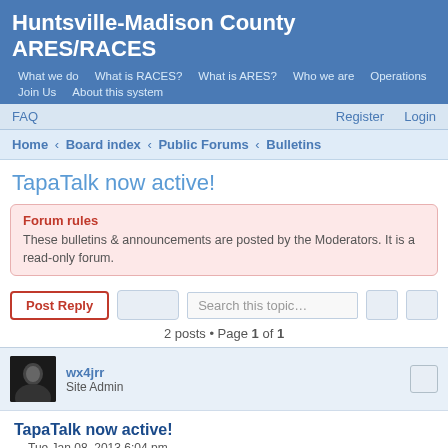Huntsville-Madison County ARES/RACES
What we do | What is RACES? | What is ARES? | Who we are | Operations | Join Us | About this system
FAQ  Register  Login
Home › Board index › Public Forums › Bulletins
TapaTalk now active!
Forum rules
These bulletins & announcements are posted by the Moderators. It is a read-only forum.
2 posts • Page 1 of 1
wx4jrr
Site Admin
TapaTalk now active!
Tue Jan 08, 2013 6:04 pm
All,
If you have an iOS device (iPad or iPhone), or an Android device, you can access this forum from any time, and from any mobile device.